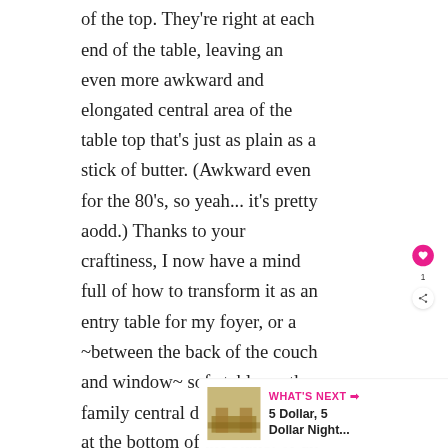of the top. They're right at each end of the table, leaving an even more awkward and elongated central area of the table top that's just as plain as a stick of butter. (Awkward even for the 80's, so yeah... it's pretty aodd.) Thanks to your craftiness, I now have a mind full of how to transform it as an entry table for my foyer, or a ~between the back of the couch and window~ sofa table, or the family central dispatch station at the bottom of the stairs, or an added spare kitchen counter bonus, or... In other
[Figure (other): Heart/like button (pink circle with white heart icon), count of 1, and share button (white circle with share icon) on the right sidebar]
[Figure (other): What's Next banner showing a small image thumbnail and text: WHAT'S NEXT → 5 Dollar, 5 Dollar Night...]